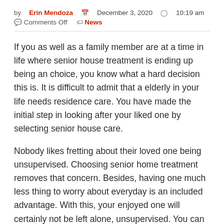by Erin Mendoza   December 3, 2020   10:19 am   Comments Off   News
If you as well as a family member are at a time in life where senior house treatment is ending up being an choice, you know what a hard decision this is. It is difficult to admit that a elderly in your life needs residence care. You have made the initial step in looking after your liked one by selecting senior house care.
Nobody likes fretting about their loved one being unsupervised. Choosing senior home treatment removes that concern. Besides, having one much less thing to worry about everyday is an included advantage. With this, your enjoyed one will certainly not be left alone, unsupervised. You can relax